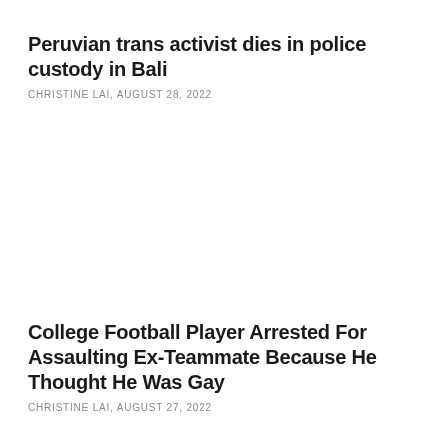Peruvian trans activist dies in police custody in Bali
CHRISTINE LAI, AUGUST 28, 2022
College Football Player Arrested For Assaulting Ex-Teammate Because He Thought He Was Gay
CHRISTINE LAI, AUGUST 27, 2022